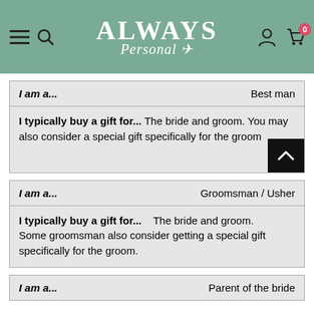Always Personal — website header with navigation icons and logo
| I am a... |  |
| --- | --- |
| I am a... | Best man |
| I typically buy a gift for... | The bride and groom. You may also consider a special gift specifically for the groom |
| I am a... |  |
| --- | --- |
| I am a... | Groomsman / Usher |
| I typically buy a gift for... | The bride and groom. Some groomsman also consider getting a special gift specifically for the groom. |
| I am a... |  |
| --- | --- |
| I am a... | Parent of the bride |